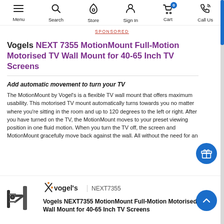Menu | Search | Store | Sign In | Cart (0) | Call Us
Vogels NEXT 7355 MotionMount Full-Motion Motorised TV Wall Mount for 40-65 Inch TV Screens
Add automatic movement to turn your TV
The MotionMount by Vogel's is a flexible TV wall mount that offers maximum usability. This motorised TV mount automatically turns towards you no matter where you're sitting in the room and up to 120 degrees to the left or right. After you have turned on the TV, the MotionMount moves to your preset viewing position in one fluid motion. When you turn the TV off, the screen and MotionMount gracefully move back against the wall. All without the need for an
[Figure (logo): Vogel's brand logo with X graphic]
NEXT7355
Vogels NEXT7355 MotionMount Full-Motion Motorised TV Wall Mount for 40-65 Inch TV Screens